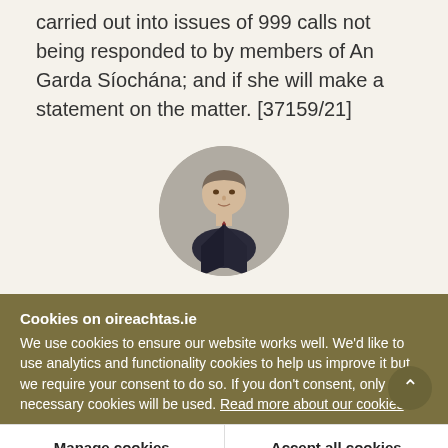carried out into issues of 999 calls not being responded to by members of An Garda Síochána; and if she will make a statement on the matter. [37159/21]
[Figure (photo): Circular profile photo of a man in a dark suit and tie, against a grey background.]
Cookies on oireachtas.ie
We use cookies to ensure our website works well. We'd like to use analytics and functionality cookies to help us improve it but we require your consent to do so. If you don't consent, only necessary cookies will be used. Read more about our cookies
Manage cookies
Accept all cookies